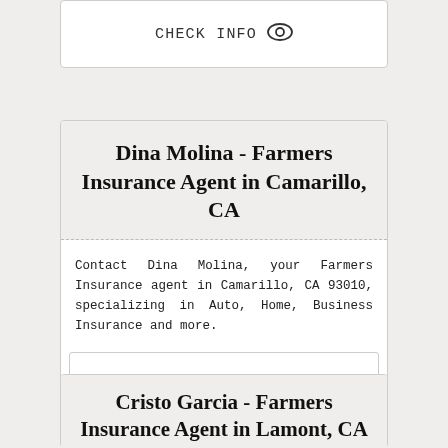CHECK INFO
Dina Molina - Farmers Insurance Agent in Camarillo, CA
Contact Dina Molina, your Farmers Insurance agent in Camarillo, CA 93010, specializing in Auto, Home, Business Insurance and more.
CHECK INFO
Cristo Garcia - Farmers Insurance Agent in Lamont, CA